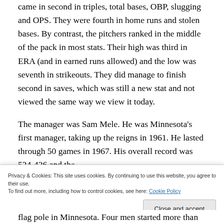came in second in triples, total bases, OBP, slugging and OPS. They were fourth in home runs and stolen bases. By contrast, the pitchers ranked in the middle of the pack in most stats. Their high was third in ERA (and in earned runs allowed) and the low was seventh in strikeouts. They did manage to finish second in saves, which was still a new stat and not viewed the same way we view it today.
The manager was Sam Mele. He was Minnesota's first manager, taking up the reigns in 1961. He lasted through 50 games in 1967. His overall record was 524-436 and the
Privacy & Cookies: This site uses cookies. By continuing to use this website, you agree to their use.
To find out more, including how to control cookies, see here: Cookie Policy
Close and accept
flag pole in Minnesota. Four men started more than 12